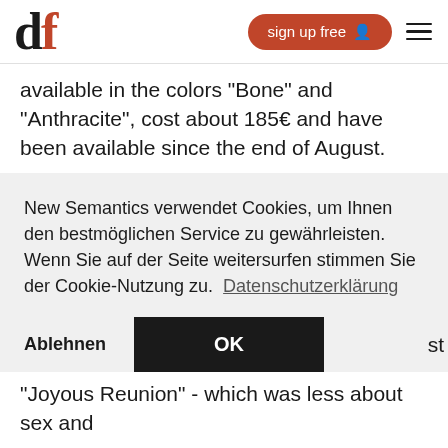df — sign up free
available in the colors "Bone" and "Anthracite", cost about 185€ and have been available since the end of August.
New Semantics verwendet Cookies, um Ihnen den bestmöglichen Service zu gewährleisten. Wenn Sie auf der Seite weitersurfen stimmen Sie der Cookie-Nutzung zu. Datenschutzerklärung
"Joyous Reunion" - which was less about sex and